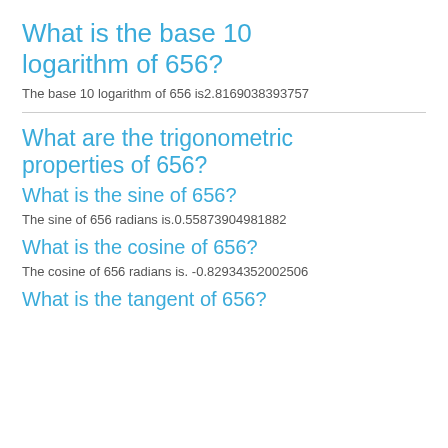What is the base 10 logarithm of 656?
The base 10 logarithm of 656 is2.8169038393757
What are the trigonometric properties of 656?
What is the sine of 656?
The sine of 656 radians is.0.55873904981882
What is the cosine of 656?
The cosine of 656 radians is. -0.82934352002506
What is the tangent of 656?